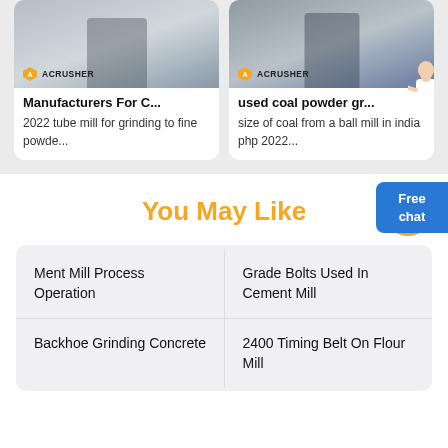[Figure (screenshot): Two product cards each showing a mining/grinding machine with ACRUSHER logo badge]
Manufacturers For C...
2022 tube mill for grinding to fine powde...
used coal powder gr...
size of coal from a ball mill in india php 2022...
You May Like
Ment Mill Process Operation
Grade Bolts Used In Cement Mill
Backhoe Grinding Concrete
2400 Timing Belt On Flour Mill